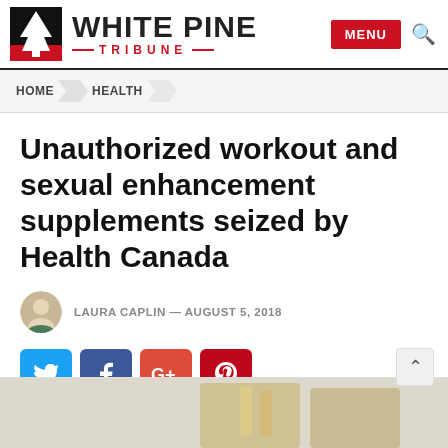WHITE PINE TRIBUNE
HOME  HEALTH
Unauthorized workout and sexual enhancement supplements seized by Health Canada
LAURA CAPLIN — AUGUST 5, 2018
[Figure (other): Social share buttons: Twitter (blue), Facebook (dark blue), Google+ (orange-red), Pinterest (red)]
[Figure (photo): Partial image at bottom of page showing supplements or related items]